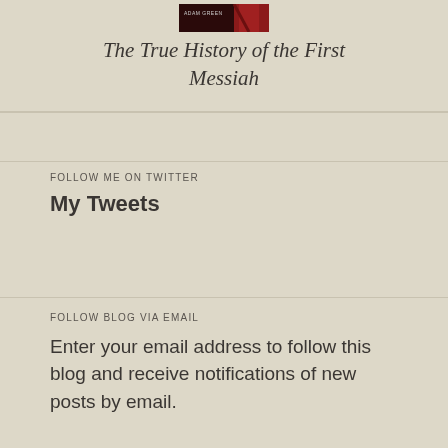[Figure (illustration): Book cover image thumbnail showing a dark red and black cover with 'Adam Green' author name]
The True History of the First Messiah
FOLLOW ME ON TWITTER
My Tweets
FOLLOW BLOG VIA EMAIL
Enter your email address to follow this blog and receive notifications of new posts by email.